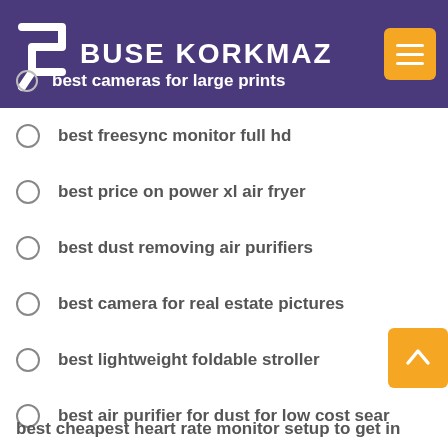BUSE KORKMAZ
best cameras for large prints
best freesync monitor full hd
best price on power xl air fryer
best dust removing air purifiers
best camera for real estate pictures
best lightweight foldable stroller
best air purifier for dust for low cost sear
best car seat exercise stroller combo
best monitors for editing photos
best cheapest heart rate monitor setup to get in